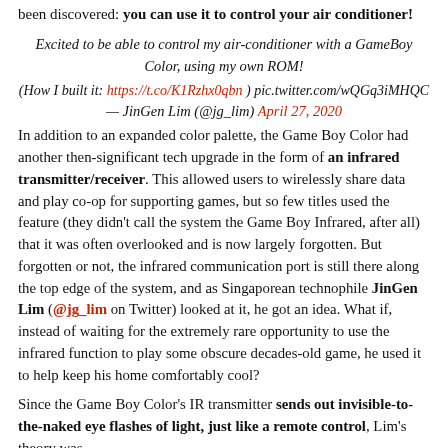been discovered: you can use it to control your air conditioner!
Excited to be able to control my air-conditioner with a GameBoy Color, using my own ROM!
(How I built it: https://t.co/K1Rzhx0qbn ) pic.twitter.com/wQGq3iMHQC
— JinGen Lim (@jg_lim) April 27, 2020
In addition to an expanded color palette, the Game Boy Color had another then-significant tech upgrade in the form of an infrared transmitter/receiver. This allowed users to wirelessly share data and play co-op for supporting games, but so few titles used the feature (they didn't call the system the Game Boy Infrared, after all) that it was often overlooked and is now largely forgotten. But forgotten or not, the infrared communication port is still there along the top edge of the system, and as Singaporean technophile JinGen Lim (@jg_lim on Twitter) looked at it, he got an idea. What if, instead of waiting for the extremely rare opportunity to use the infrared function to play some obscure decades-old game, he used it to help keep his home comfortably cool?
Since the Game Boy Color's IR transmitter sends out invisible-to-the-naked eye flashes of light, just like a remote control, Lim's theory was